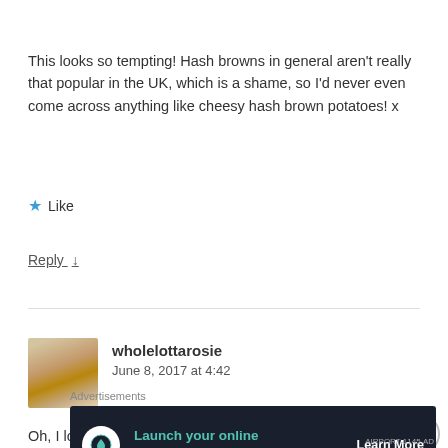This looks so tempting! Hash browns in general aren't really that popular in the UK, which is a shame, so I'd never even come across anything like cheesy hash brown potatoes! x
★ Like
Reply ↓
wholelottarosie
June 8, 2017 at 4:42
Oh, I love potato dishes, and we call it in Germany "
Advertisements
Launch your online course with WordPress  Learn More